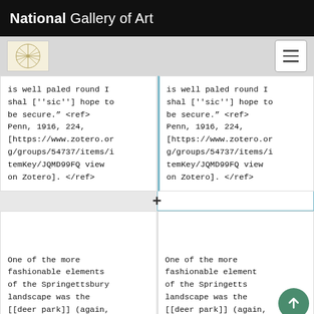National Gallery of Art
is well paled round I shal [''sic''] hope to be secure.” <ref> Penn, 1916, 224, [https://www.zotero.org/groups/54737/items/itemKey/JQMD99FQ view on Zotero]. </ref>
is well paled round I shal [''sic''] hope to be secure.” <ref> Penn, 1916, 224, [https://www.zotero.org/groups/54737/items/itemKey/JQMD99FQ view on Zotero]. </ref>
One of the more fashionable elements of the Springettsbury landscape was the [[deer park]] (again,
One of the more fashionable elements of the Springetts... landscape was the [[deer park]] (again,